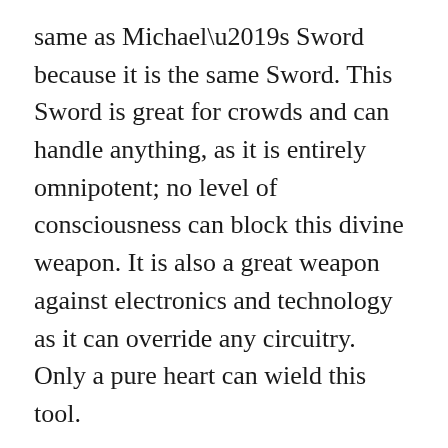same as Michael's Sword because it is the same Sword. This Sword is great for crowds and can handle anything, as it is entirely omnipotent; no level of consciousness can block this divine weapon. It is also a great weapon against electronics and technology as it can override any circuitry. Only a pure heart can wield this tool.
(Passive, Active and Aggressive)
“Archangel Issac’s Radiant Field” looks a lot like Magnetos forcefield, and it reacts to any life form with either loving energy or a